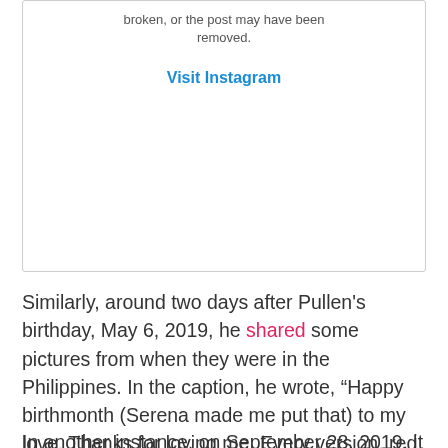[Figure (screenshot): Instagram embed placeholder box with text 'broken, or the post may have been removed.' and a 'Visit Instagram' link in blue.]
Similarly, around two days after Pullen's birthday, May 6, 2019, he shared some pictures from when they were in the Philippines. In the caption, he wrote, “Happy birthmonth (Serena made me put that) to my love. Thanks for loving me. Every version, red hair, blue, pink, bleached, and brown. Love ya.”
In another instance, on September 28, 2019, it seems like he missed his beau very much, so much